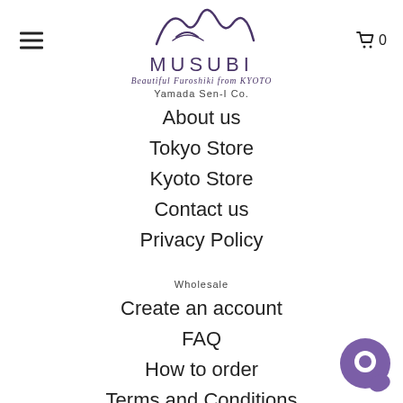[Figure (logo): MUSUBI logo with stylized mountain/wave SVG mark above the text MUSUBI and tagline Beautiful Furoshiki from KYOTO]
Yamada Sen-I Co.
About us
Tokyo Store
Kyoto Store
Contact us
Privacy Policy
Wholesale
Create an account
FAQ
How to order
Terms and Conditions